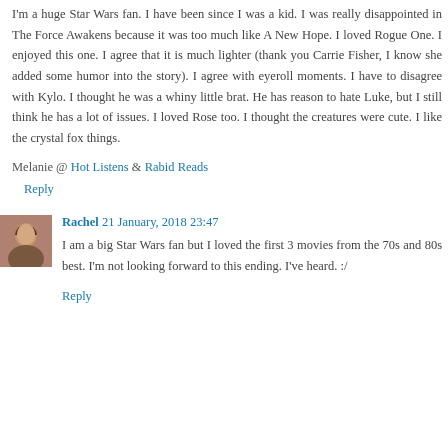I'm a huge Star Wars fan. I have been since I was a kid. I was really disappointed in The Force Awakens because it was too much like A New Hope. I loved Rogue One. I enjoyed this one. I agree that it is much lighter (thank you Carrie Fisher, I know she added some humor into the story). I agree with eyeroll moments. I have to disagree with Kylo. I thought he was a whiny little brat. He has reason to hate Luke, but I still think he has a lot of issues. I loved Rose too. I thought the creatures were cute. I like the crystal fox things.
Melanie @ Hot Listens & Rabid Reads
Reply
[Figure (photo): Small avatar photo of Rachel, a woman with dark hair]
Rachel 21 January, 2018 23:47
I am a big Star Wars fan but I loved the first 3 movies from the 70s and 80s best. I'm not looking forward to this ending. I've heard. :/
Reply